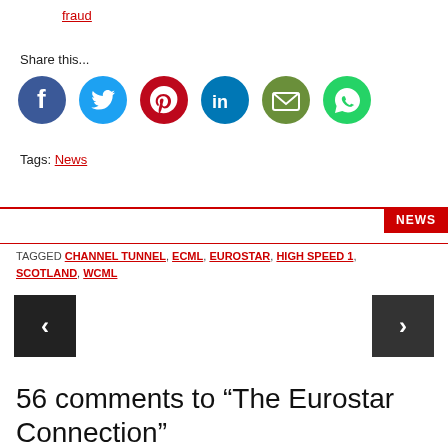fraud
Share this...
[Figure (illustration): Row of social media share icons: Facebook (blue), Twitter (light blue), Pinterest (red), LinkedIn (dark blue), Email (olive/green), WhatsApp (green)]
Tags: News
NEWS
TAGGED CHANNEL TUNNEL, ECML, EUROSTAR, HIGH SPEED 1, SCOTLAND, WCML
[Figure (illustration): Previous navigation arrow button (dark background, left chevron)]
[Figure (illustration): Next navigation arrow button (dark background, right chevron)]
56 comments to “The Eurostar Connection”